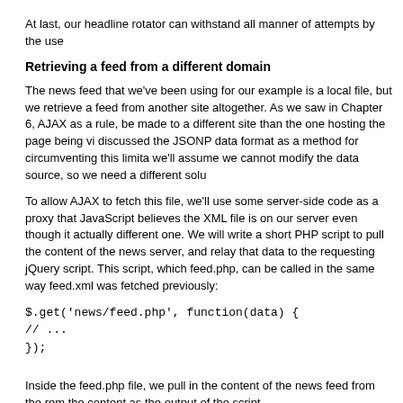At last, our headline rotator can withstand all manner of attempts by the use
Retrieving a feed from a different domain
The news feed that we've been using for our example is a local file, but we retrieve a feed from another site altogether. As we saw in Chapter 6, AJAX as a rule, be made to a different site than the one hosting the page being vi discussed the JSONP data format as a method for circumventing this limita we'll assume we cannot modify the data source, so we need a different solu
To allow AJAX to fetch this file, we'll use some server-side code as a proxy that JavaScript believes the XML file is on our server even though it actually different one. We will write a short PHP script to pull the content of the news server, and relay that data to the requesting jQuery script. This script, which feed.php, can be called in the same way feed.xml was fetched previously:
$.get('news/feed.php', function(data) {
// ...
});
Inside the feed.php file, we pull in the content of the news feed from the rem the content as the output of the script.
<?php
header('Content-Type: text/xml');
print file_get_contents('http://jquery.com/blog/feed');
?>